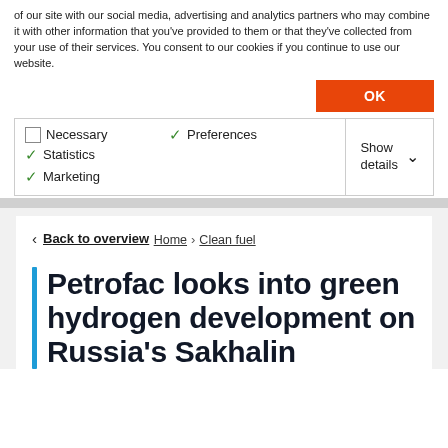of our site with our social media, advertising and analytics partners who may combine it with other information that you've provided to them or that they've collected from your use of their services. You consent to our cookies if you continue to use our website.
OK
Necessary  Preferences  Statistics  Marketing  Show details
< Back to overview
Home > Clean fuel
Petrofac looks into green hydrogen development on Russia's Sakhalin